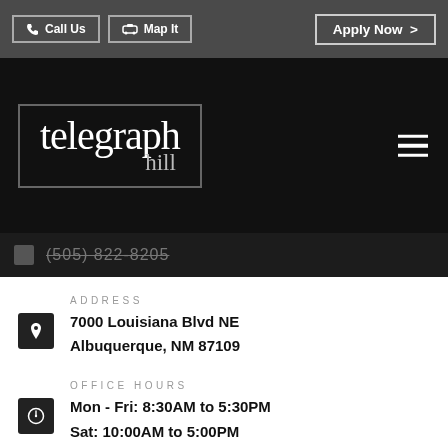Call Us | Map It | Apply Now >
[Figure (logo): Telegraph Hill apartment community logo — white serif text 'telegraph hill' inside a rectangular border on black background]
(505) 822-8205
ADDRESS
7000 Louisiana Blvd NE
Albuquerque, NM 87109
OFFICE HOURS
Mon - Fri: 8:30AM to 5:30PM
Sat: 10:00AM to 5:00PM
Sun: Closed